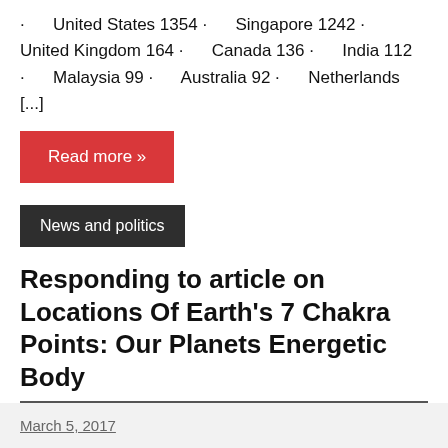· United States 1354 · Singapore 1242 · United Kingdom 164 · Canada 136 · India 112 · Malaysia 99 · Australia 92 · Netherlands [...]
Read more »
News and politics
Responding to article on Locations Of Earth's 7 Chakra Points: Our Planets Energetic Body
March 5, 2017
Advertisements
[Figure (screenshot): Advertisement banner for Day One journal app with blue background, phone image, and text 'Your Journal for life' with Day One logo]